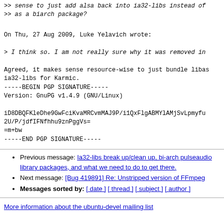>> sense to just add alsa back into ia32-libs instead of
>> as a biarch package?
On Thu, 27 Aug 2009, Luke Yelavich wrote:
> I think so. I am not really sure why it was removed in
Agreed, it makes sense resource-wise to just bundle libas
ia32-libs for Karmic.
-----BEGIN PGP SIGNATURE-----
Version: GnuPG v1.4.9 (GNU/Linux)

iD8DBQFKleDhe9GwFciKvaMRCvmMAJ9P/i1QxFlgABMYlAMjSvLpmyfu
2U/P/jdfIFNfhhu9znPggVs=
=m+bw
-----END PGP SIGNATURE-----
Previous message: Ia32-libs break up/clean up, bi-arch pulseaudio library packages, and what we need to do to get there.
Next message: [Bug 419891] Re: Unstripped version of FFmpeg
Messages sorted by: [ date ] [ thread ] [ subject ] [ author ]
More information about the ubuntu-devel mailing list